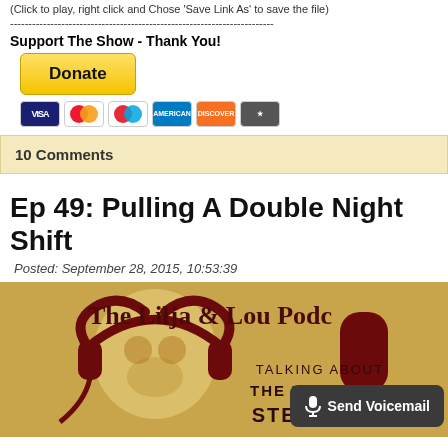(Click to play, right click and Chose 'Save Link As' to save the file)
------------------------------------------------------------------------
Support The Show - Thank You!
[Figure (other): Yellow Donate button followed by payment card icons (Visa, Mastercard, Maestro, American Express, Discover, and another card)]
10 Comments
Ep 49: Pulling A Double Night Shift
Posted: September 28, 2015, 10:53:39
[Figure (illustration): The Lilja & Lou Podcast banner image with skull wearing headphones on golden/tan background, text reads 'The Lilja & Lou Podcast - Talking About The World Of Steph...' with a Send Voicemail button overlay]